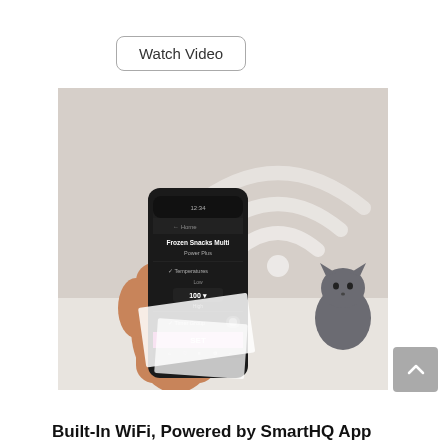Watch Video
[Figure (photo): A hand holding a smartphone displaying the SmartHQ app with a dark UI showing 'Frozen Snacks Multi' and temperature controls. A large WiFi symbol is visible in the background. A small gray cat figurine is visible to the right. White papers are on the surface below.]
Built-In WiFi, Powered by SmartHQ App